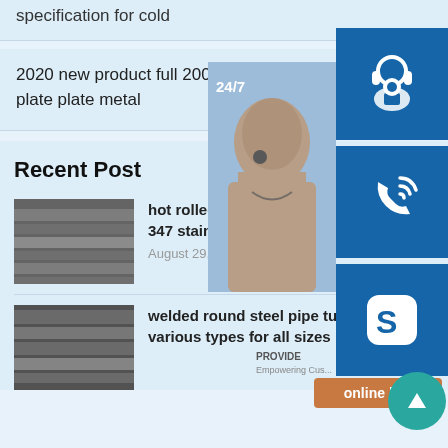specification for cold
2020 new product full 200 300 400 900 304l plate plate metal
Recent Post
hot rolled 316ti 317 347 stainless steel plate
August 29, 2020
welded round steel pipe tube various types for all sizes
[Figure (photo): Customer service agent with headset, blue background with 24/7 text]
[Figure (illustration): Headset/customer support icon on blue background]
[Figure (illustration): Phone/call icon on blue background]
[Figure (illustration): Skype icon on blue background]
[Figure (illustration): Online live chat button]
[Figure (illustration): Scroll to top button, teal circle with up arrow]
[Figure (photo): Stainless steel plates stacked]
[Figure (photo): Steel plates in warehouse]